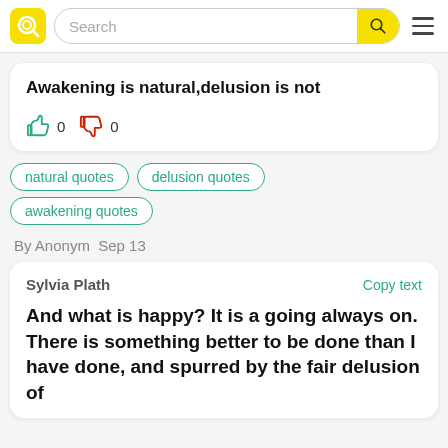[Figure (screenshot): Website header with yellow logo, search bar, and hamburger menu]
Awakening is natural,delusion is not
👍 0 👎 0
natural quotes
delusion quotes
awakening quotes
By Anonym  Sep 13
Sylvia Plath
Copy text
And what is happy? It is a going always on. There is something better to be done than I have done, and spurred by the fair delusion of